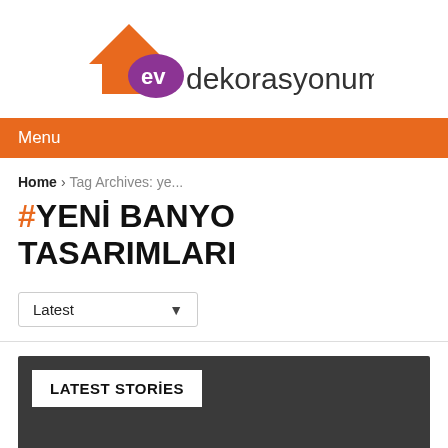[Figure (logo): evdekorasyonum logo with orange house icon and purple 'ev' text followed by dark 'dekorasyonum' text]
Menu
Home › Tag Archives: ye...
#YENİ BANYO TASARIMLARI
Latest
LATEST STORİES